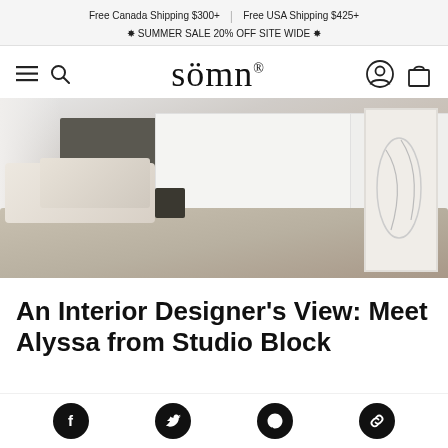Free Canada Shipping $300+ | Free USA Shipping $425+
✸ SUMMER SALE 20% OFF SITE WIDE ✸
[Figure (logo): söm̈n brand logo with registered trademark symbol, with hamburger menu and search icon on left, account and cart icon on right]
[Figure (photo): Interior bedroom photo showing a bed with white paneled headboard, linen/knit blanket, pillows, dark nightstand, and a framed line-art piece on the right side]
An Interior Designer's View: Meet Alyssa from Studio Block
[Figure (other): Social sharing icons bar at bottom: Facebook, Twitter, Pinterest, and link copy icons as white symbols on black circles]